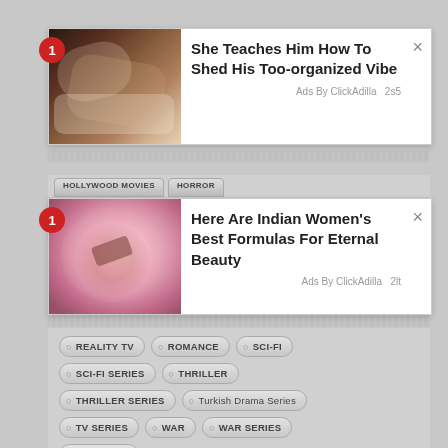[Figure (screenshot): Advertisement card 1: Image of couple, title 'She Teaches Him How To Shed His Too-organized Vibe', Ads By ClickAdilla, 2s5]
[Figure (screenshot): Advertisement card 2: Image of spherical object, title 'Here Are Indian Women's Best Formulas For Eternal Beauty', Ads By ClickAdilla, 2lt]
REALITY TV
ROMANCE
SCI-FI
SCI-FI SERIES
THRILLER
THRILLER SERIES
Turkish Drama Series
TV SERIES
WAR
WAR SERIES
Web Series